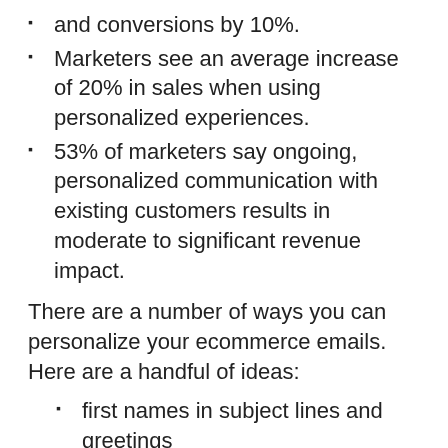and conversions by 10%.
Marketers see an average increase of 20% in sales when using personalized experiences.
53% of marketers say ongoing, personalized communication with existing customers results in moderate to significant revenue impact.
There are a number of ways you can personalize your ecommerce emails. Here are a handful of ideas:
first names in subject lines and greetings
product recommendation blocks that cater to each subscriber